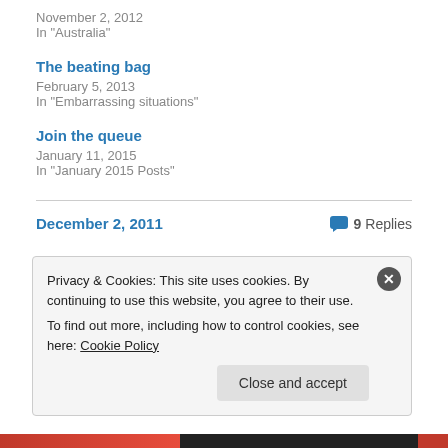November 2, 2012
In "Australia"
The beating bag
February 5, 2013
In "Embarrassing situations"
Join the queue
January 11, 2015
In "January 2015 Posts"
December 2, 2011
9 Replies
Privacy & Cookies: This site uses cookies. By continuing to use this website, you agree to their use.
To find out more, including how to control cookies, see here: Cookie Policy
Close and accept